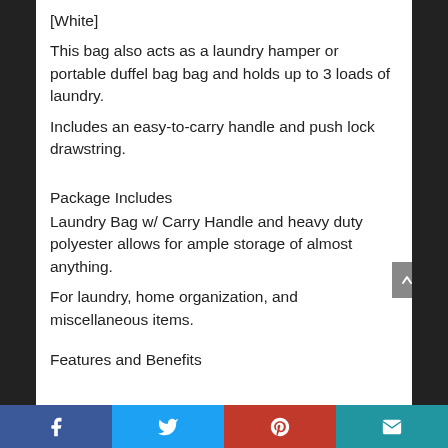[White]
This bag also acts as a laundry hamper or portable duffel bag bag and holds up to 3 loads of laundry.
Includes an easy-to-carry handle and push lock drawstring.
Package Includes
Laundry Bag w/ Carry Handle and heavy duty polyester allows for ample storage of almost anything.
For laundry, home organization, and miscellaneous items.
Features and Benefits
Facebook | Twitter | Pinterest | Email